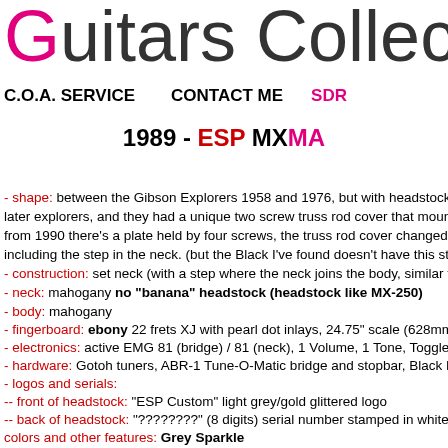Guitars Collec
C.O.A. SERVICE    CONTACT ME    SDR
1989 - ESP MX
- shape: between the Gibson Explorers 1958 and 1976, but with headstock like a "bar... later explorers, and they had a unique two screw truss rod cover that mounted flush w... from 1990 there's a plate held by four screws, the truss rod cover changed to a 2 scre... including the step in the neck. (but the Black I've found doesn't have this step...maybe
- construction: set neck (with a step where the neck joins the body, similar to a Gibso
- neck: mahogany no "banana" headstock (headstock like MX-250)
- body: mahogany
- fingerboard: ebony 22 frets XJ with pearl dot inlays, 24.75" scale (628mm)
- electronics: active EMG 81 (bridge) / 81 (neck), 1 Volume, 1 Tone, Toggle 3 way se
- hardware: Gotoh tuners, ABR-1 Tune-O-Matic bridge and stopbar, Black Hardware
- logos and serials:
-- front of headstock: "ESP Custom" light grey/gold glittered logo
-- back of headstock: "????????" (8 digits) serial number stamped in white (NO "ESP
colors and other features: Grey Sparkle